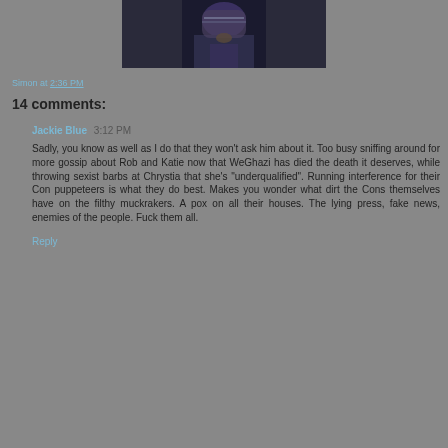[Figure (photo): Close-up photo of a man wearing glasses, dark toned image]
Simon at 2:36 PM
14 comments:
Jackie Blue  3:12 PM
Sadly, you know as well as I do that they won't ask him about it. Too busy sniffing around for more gossip about Rob and Katie now that WeGhazi has died the death it deserves, while throwing sexist barbs at Chrystia that she's "underqualified". Running interference for their Con puppeteers is what they do best. Makes you wonder what dirt the Cons themselves have on the filthy muckrakers. A pox on all their houses. The lying press, fake news, enemies of the people. Fuck them all.
Reply